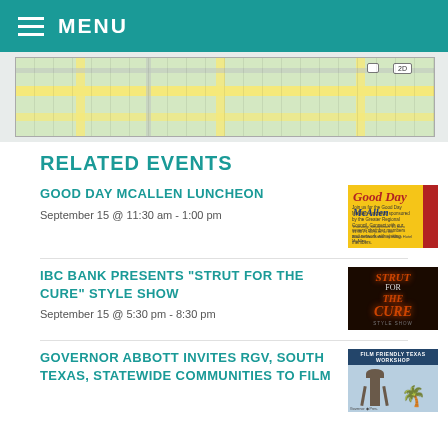MENU
[Figure (map): Street map showing road intersections with yellow and gray roads on green background, with route badge '2D']
RELATED EVENTS
GOOD DAY MCALLEN LUNCHEON
September 15 @ 11:30 am - 1:00 pm
[Figure (photo): Good Day McAllen luncheon event poster with yellow background, red italic text 'Good Day' and blue text 'McAllen']
IBC BANK PRESENTS "STRUT FOR THE CURE" STYLE SHOW
September 15 @ 5:30 pm - 8:30 pm
[Figure (photo): Strut for the Cure style show poster with dark background and red glowing text]
GOVERNOR ABBOTT INVITES RGV, SOUTH TEXAS, STATEWIDE COMMUNITIES TO FILM
[Figure (photo): Film Friendly Texas Workshop poster with water tower and palm tree]